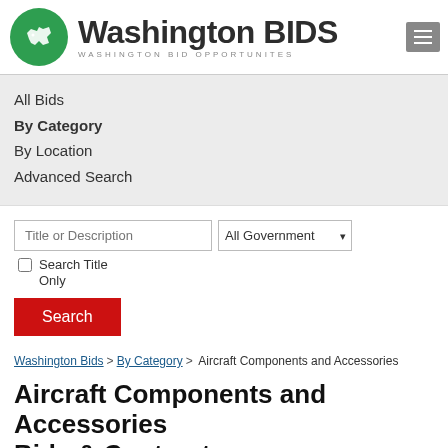[Figure (logo): Washington BIDS logo with green circle containing Washington state outline and bold text 'Washington BIDS' with subtitle 'WASHINGTON BID OPPORTUNITES']
All Bids
By Category
By Location
Advanced Search
Title or Description | All Government ▼ | Search Title Only
Search
Washington Bids > By Category > Aircraft Components and Accessories
Aircraft Components and Accessories Bids & Contracts